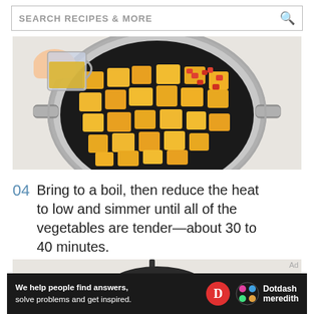SEARCH RECIPES & MORE
[Figure (photo): Overhead view of a pot of chopped butternut squash and red peppers, with a hand pouring broth from a glass measuring cup into the pot. The pot sits on a light marble surface.]
04  Bring to a boil, then reduce the heat to low and simmer until all of the vegetables are tender—about 30 to 40 minutes.
[Figure (photo): Partial view of a blender or pot with dark handle visible against a light background.]
Ad
[Figure (infographic): Dotdash Meredith advertisement banner: 'We help people find answers, solve problems and get inspired.' with D logo and Dotdash Meredith colorful logo.]